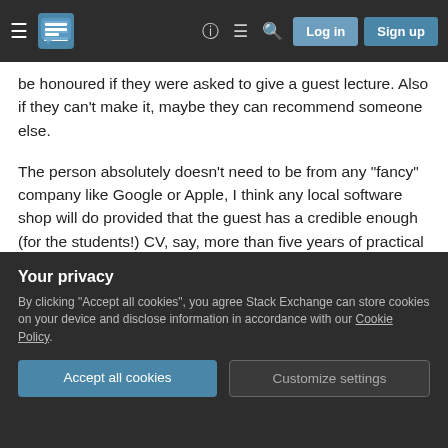Stack Exchange navigation bar with hamburger menu, logo, help, chat, search icons, Log in and Sign up buttons
be honoured if they were asked to give a guest lecture. Also if they can't make it, maybe they can recommend someone else.
The person absolutely doesn't need to be from any "fancy" company like Google or Apple, I think any local software shop will do provided that the guest has a credible enough (for the students!) CV, say, more than five years of practical experience.
The students will find the lecture a refreshing break from the usual routines and will hear the facts from
code review in codereview.stackexchange.com! Let
Your privacy
By clicking "Accept all cookies", you agree Stack Exchange can store cookies on your device and disclose information in accordance with our Cookie Policy.
Accept all cookies
Customize settings